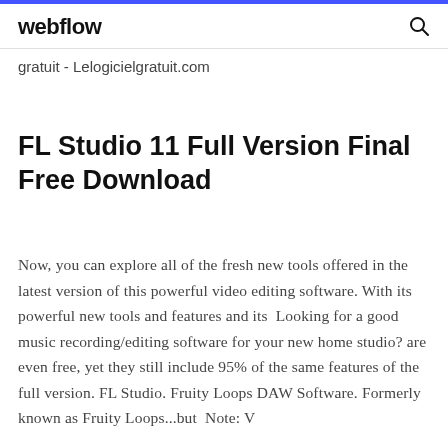webflow
gratuit - Lelogicielgratuit.com
FL Studio 11 Full Version Final Free Download
Now, you can explore all of the fresh new tools offered in the latest version of this powerful video editing software. With its powerful new tools and features and its  Looking for a good music recording/editing software for your new home studio? are even free, yet they still include 95% of the same features of the full version. FL Studio. Fruity Loops DAW Software. Formerly known as Fruity Loops...but  Note: V